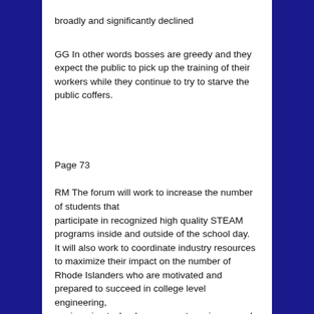broadly and significantly declined
GG In other words bosses are greedy and they expect the public to pick up the training of their workers while they continue to try to starve the public coffers.
Page 73
RM The forum will work to increase the number of students that participate in recognized high quality STEAM programs inside and outside of the school day. It will also work to coordinate industry resources to maximize their impact on the number of Rhode Islanders who are motivated and prepared to succeed in college level engineering, engineering technology, computer science, and information technology degree programs.